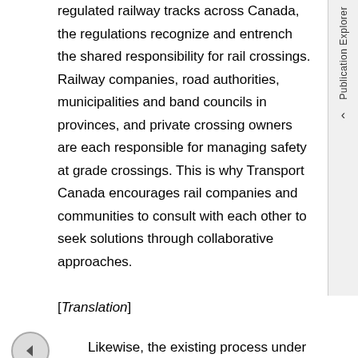regulated railway tracks across Canada, the regulations recognize and entrench the shared responsibility for rail crossings. Railway companies, road authorities, municipalities and band councils in provinces, and private crossing owners are each responsible for managing safety at grade crossings. This is why Transport Canada encourages rail companies and communities to consult with each other to seek solutions through collaborative approaches.
[Translation]
Likewise, the existing process under the Canada Transportation Act encourages road authorities and railway companies to work together to agree whether or not to open a road crossing, where to open a crossing, and